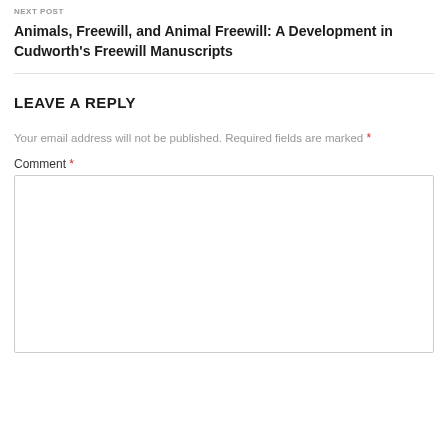NEXT POST
Animals, Freewill, and Animal Freewill: A Development in Cudworth's Freewill Manuscripts
LEAVE A REPLY
Your email address will not be published. Required fields are marked *
Comment *